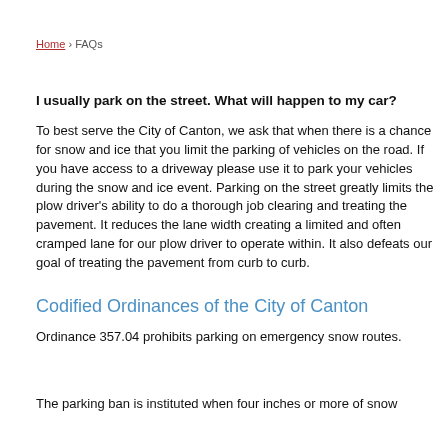Home › FAQs
I usually park on the street. What will happen to my car?
To best serve the City of Canton, we ask that when there is a chance for snow and ice that you limit the parking of vehicles on the road. If you have access to a driveway please use it to park your vehicles during the snow and ice event. Parking on the street greatly limits the plow driver's ability to do a thorough job clearing and treating the pavement. It reduces the lane width creating a limited and often cramped lane for our plow driver to operate within. It also defeats our goal of treating the pavement from curb to curb.
Codified Ordinances of the City of Canton
Ordinance 357.04 prohibits parking on emergency snow routes.
The parking ban is instituted when four inches or more of snow